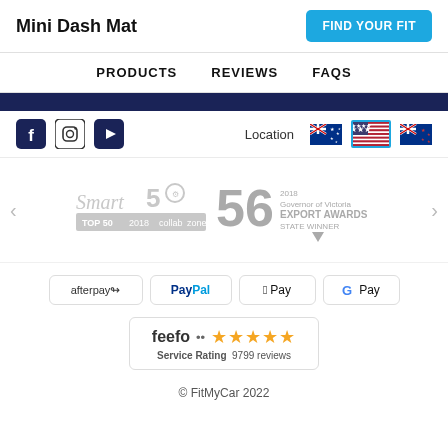Mini Dash Mat
FIND YOUR FIT
PRODUCTS   REVIEWS   FAQS
[Figure (screenshot): Social media icons: Facebook, Instagram, YouTube. Location selector with Australian flag, US flag (selected/highlighted), New Zealand flag.]
[Figure (logo): Smart50 Top 50 2018 ColabZone award logo and 56 Governor of Victoria Export Awards State Winner 2018 logo]
[Figure (logo): Payment method logos: afterpay, PayPal, Apple Pay, Google Pay]
[Figure (logo): Feefo Service Rating 5 stars 9799 reviews]
© FitMyCar 2022